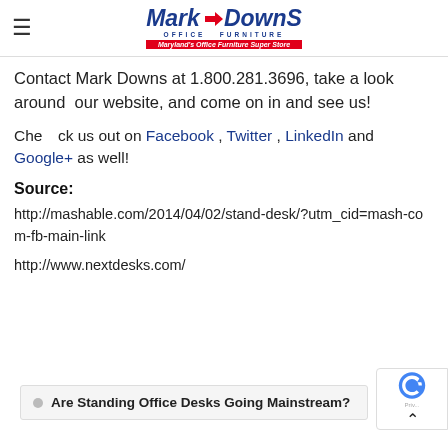[Figure (logo): Mark Downs Office Furniture logo with red arrow, blue italic text, and red tagline 'Maryland's Office Furniture Super Store']
Contact Mark Downs at 1.800.281.3696, take a look around our website, and come on in and see us!
Check us out on Facebook , Twitter , LinkedIn and Google+ as well!
Source:
http://mashable.com/2014/04/02/stand-desk/?utm_cid=mash-com-fb-main-link
http://www.nextdesks.com/
Are Standing Office Desks Going Mainstream?